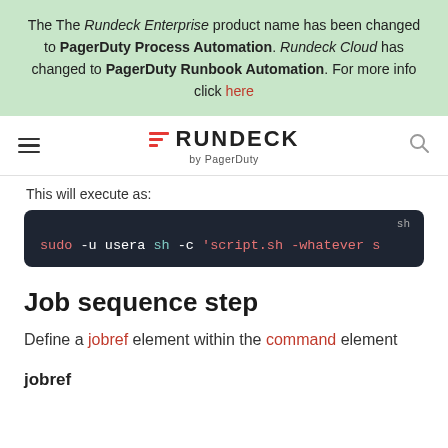The The Rundeck Enterprise product name has been changed to PagerDuty Process Automation. Rundeck Cloud has changed to PagerDuty Runbook Automation. For more info click here
[Figure (logo): Rundeck by PagerDuty logo with hamburger menu and search icon]
This will execute as:
sudo -u usera sh -c 'script.sh -whatever s
Job sequence step
Define a jobref element within the command element
jobref